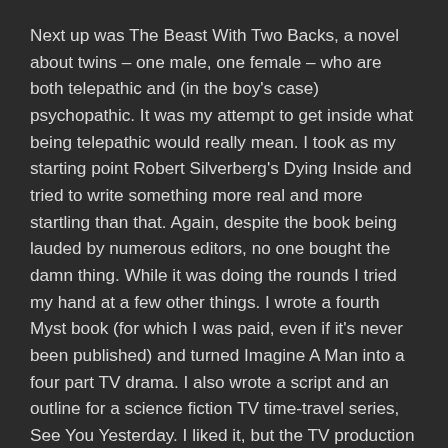Next up was The Beast With Two Backs, a novel about twins – one male, one female – who are both telepathic and (in the boy's case) psychopathic. It was my attempt to get inside what being telepathic would really mean. I took as my starting point Robert Silverberg's Dying Inside and tried to write something more real and more startling than that. Again, despite the book being lauded by numerous editors, no one bought the damn thing. While it was doing the rounds I tried my hand at a few other things. I wrote a fourth Myst book (for which I was paid, even if it's never been published) and turned Imagine A Man into a four part TV drama. I also wrote a script and an outline for a science fiction TV time-travel series, See You Yesterday. I liked it, but the TV production companies didn't bite.
So what next? It's now 1999, and if Sue (my wife) hadn't been making a bit of money now writing TV dramas (she got 55% audience share in the UK for Real Women... reaching over 11 million viewers) we'd have been